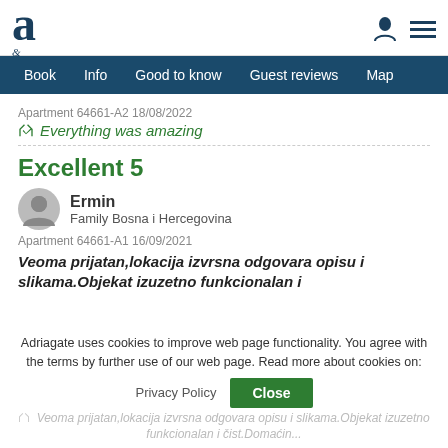a — Adriagate logo header with user and menu icons
Book | Info | Good to know | Guest reviews | Map
Apartment 64661-A2 18/08/2022
👍 Everything was amazing
Excellent 5
Ermin
Family Bosna i Hercegovina
Apartment 64661-A1 16/09/2021
Veoma prijatan,lokacija izvrsna odgovara opisu i slikama.Objekat izuzetno funkcionalan i
Adriagate uses cookies to improve web page functionality. You agree with the terms by further use of our web page. Read more about cookies on:
Privacy Policy
Close